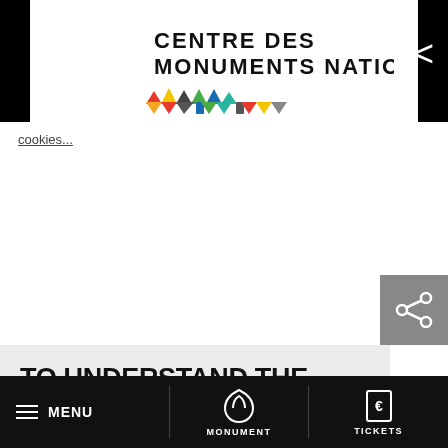[Figure (logo): Centre des Monuments Nationaux logo with colorful monument icons on black background]
cookies...
TO UNDERSTAND THE TERMS AND CONDITIONS OF USE FOR COOKIES OR OTHER TRACERS ON EACH OF THESE SOCIAL MEDIA WEBSITES:
How to delete cookies on your specific web browsers?
Users of Google Chrome: follow the instructions on this page
MENU   MONUMENT   TICKETS